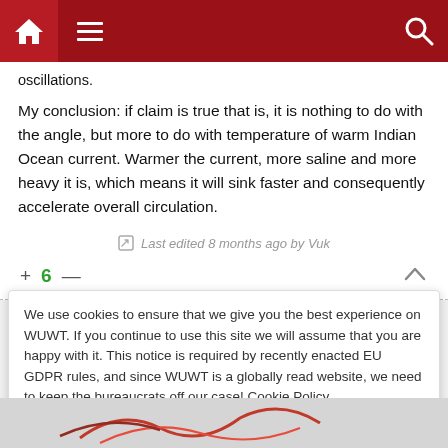Navigation bar with home, menu, and search icons
oscillations.
My conclusion: if claim is true that is, it is nothing to do with the angle, but more to do with temperature of warm Indian Ocean current. Warmer the current, more saline and more heavy it is, which means it will sink faster and consequently accelerate overall circulation.
Last edited 8 months ago by Vuk
+ 6 —
We use cookies to ensure that we give you the best experience on WUWT. If you continue to use this site we will assume that you are happy with it. This notice is required by recently enacted EU GDPR rules, and since WUWT is a globally read website, we need to keep the bureaucrats off our case! Cookie Policy
Close and accept